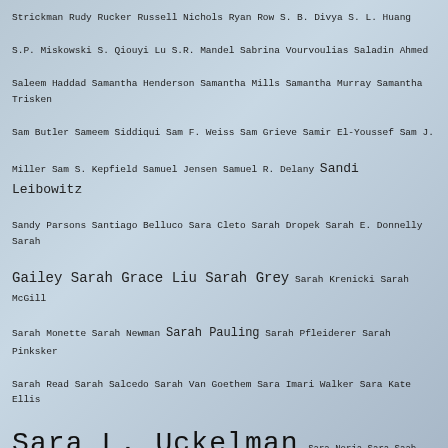Strickman Rudy Rucker Russell Nichols Ryan Row S. B. Divya S. L. Huang S.P. Miskowski S. Qiouyi Lu S.R. Mandel Sabrina Vourvoulias Saladin Ahmed Saleem Haddad Samantha Henderson Samantha Mills Samantha Murray Samantha Trisken Sam Butler Sameem Siddiqui Sam F. Weiss Sam Grieve Samir El-Youssef Sam J. Miller Sam S. Kepfield Samuel Jensen Samuel R. Delany Sandi Leibowitz Sandy Parsons Santiago Belluco Sara Cleto Sarah Dropek Sarah E. Donnelly Sarah Gailey Sarah Grace Liu Sarah Grey Sarah Krenicki Sarah McGill Sarah Monette Sarah Newman Sarah Pauling Sarah Pfleiderer Sarah Pinksker Sarah Read Sarah Salcedo Sarah Van Goethem Sara Imari Walker Sara Kate Ellis Sara L. Uckelman Sara Norja Sara Saab Sarena Ulibarri Savannah Wade Scott Lynch Scourge of the Seas Seanan McGuire Sean Eads Sean McMullen Sean Monaghan Sean Vivier Sean Woznicki Selma Dabbagh Senaa Ahmad Setsu Uzumé Settling the World SF Shana Ross Shannon Ryan Shaoni C. White Sharni Wilson Shawn Proctor Sheila Massie